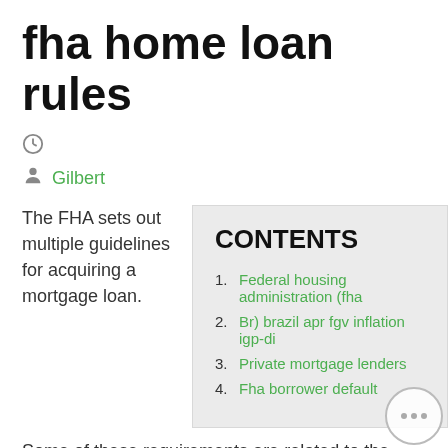fha home loan rules
[Figure (other): Clock icon]
Gilbert
The FHA sets out multiple guidelines for acquiring a mortgage loan.
CONTENTS
1. Federal housing administration (fha
2. Br) brazil apr fgv inflation igp-di
3. Private mortgage lenders
4. Fha borrower default
Some of these requirements are related to the income needed to qualify for loans of certain sizes, while others focus on the condition of the home you're buying